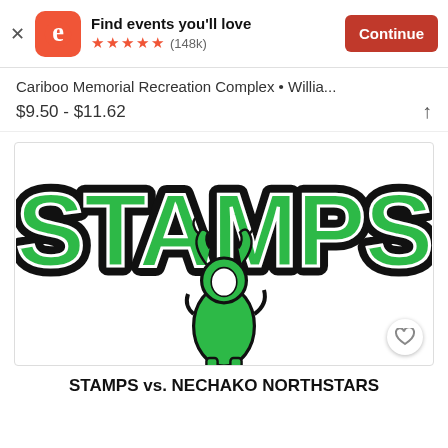[Figure (logo): Eventbrite app banner with orange Eventbrite logo icon, 'Find events you'll love' text, 5 orange stars rating with (148k) reviews, and orange Continue button]
Cariboo Memorial Recreation Complex • Willia...
$9.50 - $11.62
[Figure (logo): Stamps hockey team logo with green and black text 'STAMPS' and a moose/player mascot figure in green and white on white background]
STAMPS vs. NECHAKO NORTHSTARS